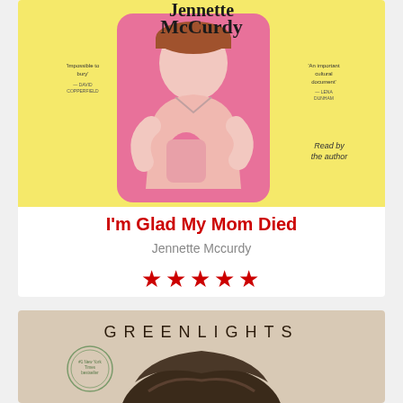[Figure (photo): Book cover of 'I'm Glad My Mom Died' by Jennette McCurdy — yellow background with pink photo portrait of Jennette McCurdy holding a pink bottle, text includes review quotes and 'Read by the author']
I'm Glad My Mom Died
Jennette Mccurdy
★★★★★
[Figure (photo): Book cover of 'Greenlights' by Matthew McConaughey — beige/tan background with the title 'GREENLIGHTS' in large spaced letters and a photo of the author's hair/head]